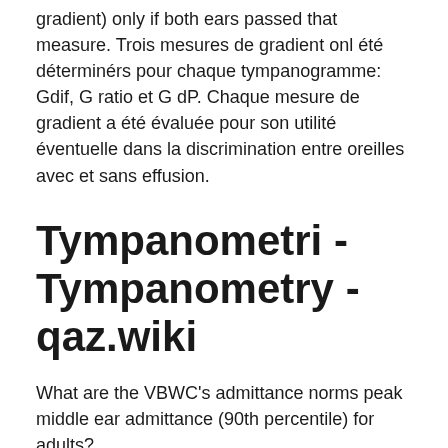gradient) only if both ears passed that measure. Trois mesures de gradient onl été déterminérs pour chaque tympanogramme: Gdif, G ratio et G dP. Chaque mesure de gradient a été évaluée pour son utilité éventuelle dans la discrimination entre oreilles avec et sans effusion.
Tympanometri - Tympanometry - qaz.wiki
What are the VBWC's admittance norms peak middle ear admittance (90th percentile) for adults?
Participants were 170 healthy neonates (96 boys